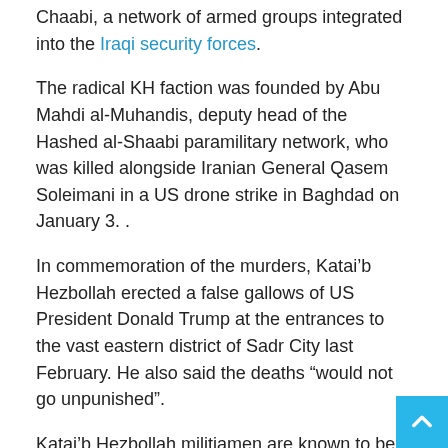Chaabi, a network of armed groups integrated into the Iraqi security forces.
The radical KH faction was founded by Abu Mahdi al-Muhandis, deputy head of the Hashed al-Shaabi paramilitary network, who was killed alongside Iranian General Qasem Soleimani in a US drone strike in Baghdad on January 3. .
In commemoration of the murders, Katai'b Hezbollah erected a false gallows of US President Donald Trump at the entrances to the vast eastern district of Sadr City last February. He also said the deaths “would not go unpunished”.
Katai’b Hezbollah militiamen are known to be close to Iran and fiercely opposed to the US presence in the region.
The Iraqi Counterterrorism Service was established by the US occupation forces following the 2003 invasion that overthrew former President Saddam Hussein and is widely regarded as a force friendly to Washington. But he is seen as a disciplined